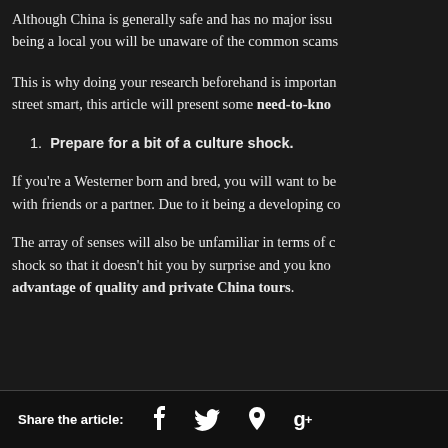Although China is generally safe and has no major issues, being a local you will be unaware of the common scams...
This is why doing your research beforehand is important... street smart, this article will present some need-to-know...
1. Prepare for a bit of a culture shock.
If you're a Westerner born and bred, you will want to be... with friends or a partner. Due to it being a developing co...
The array of senses will also be unfamiliar in terms of c... shock so that it doesn't hit you by surprise and you kno... advantage of quality and private China tours.
Share the article: f  twitter  pinterest  g+